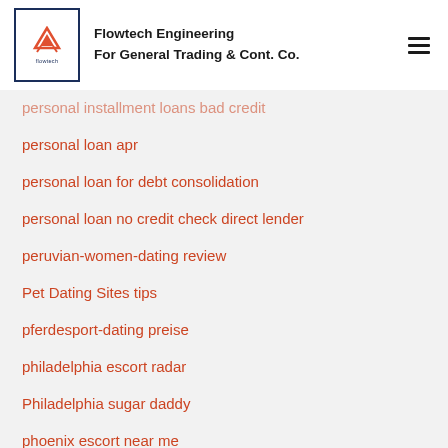Flowtech Engineering For General Trading & Cont. Co.
personal installment loans bad credit
personal loan apr
personal loan for debt consolidation
personal loan no credit check direct lender
peruvian-women-dating review
Pet Dating Sites tips
pferdesport-dating preise
philadelphia escort radar
Philadelphia sugar daddy
phoenix escort near me
phrendly review